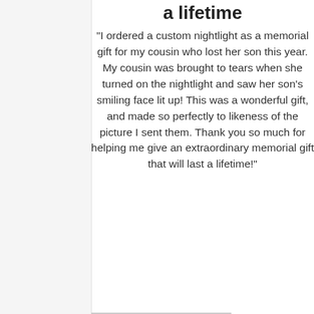a lifetime
"I ordered a custom nightlight as a memorial gift for my cousin who lost her son this year. My cousin was brought to tears when she turned on the nightlight and saw her son's smiling face lit up! This was a wonderful gift, and made so perfectly to likeness of the picture I sent them. Thank you so much for helping me give an extraordinary memorial gift that will last a lifetime!"